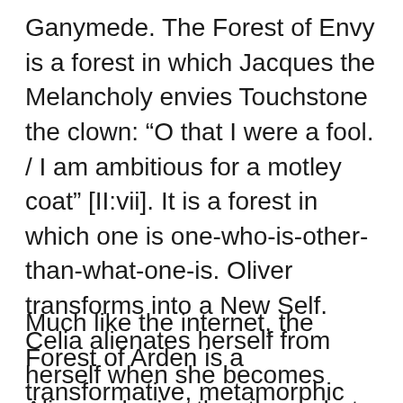Ganymede.  The Forest of Envy is a forest in which Jacques the Melancholy envies Touchstone the clown: “O that I were a fool. / I am ambitious for a motley coat” [II:vii].  It is a forest in which one is one-who-is-other-than-what-one-is.  Oliver transforms into a New Self.  Celia alienates herself from herself when she becomes Aliena; she is other-than-what-she-appears-to-be (“Aliena” means “stranger”).  Everyone is a stranger to oneself in the Forest of Envy.
Much like the internet, the Forest of Arden is a transformative, metamorphic space in which anyone can become anything that one wishes